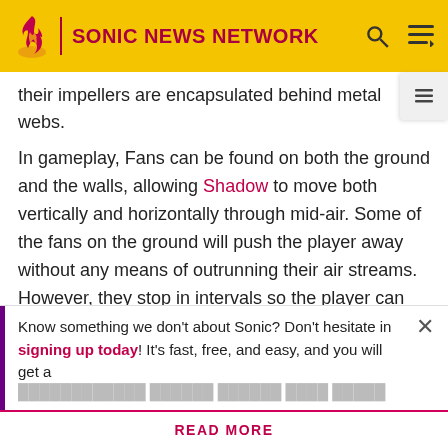SONIC NEWS NETWORK
their impellers are encapsulated behind metal webs.
In gameplay, Fans can be found on both the ground and the walls, allowing Shadow to move both vertically and horizontally through mid-air. Some of the fans on the ground will push the player away without any means of outrunning their air streams. However, they stop in intervals so the player can continue. They can also be bypassed with Chaos Control.
Sonic Rivals
Know something we don't about Sonic? Don't hesitate in signing up today! It's fast, free, and easy, and you will get a